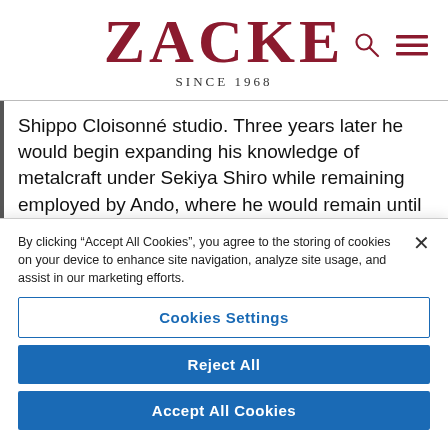ZACKE
SINCE 1968
Shippo Cloisonné studio. Three years later he would begin expanding his knowledge of metalcraft under Sekiya Shiro while remaining employed by Ando, where he would remain until 1967. He became a member of
By clicking “Accept All Cookies”, you agree to the storing of cookies on your device to enhance site navigation, analyze site usage, and assist in our marketing efforts.
Cookies Settings
Reject All
Accept All Cookies